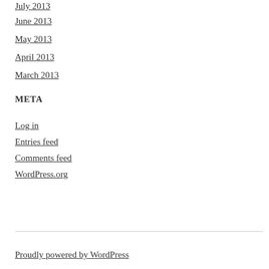July 2013
June 2013
May 2013
April 2013
March 2013
META
Log in
Entries feed
Comments feed
WordPress.org
Proudly powered by WordPress